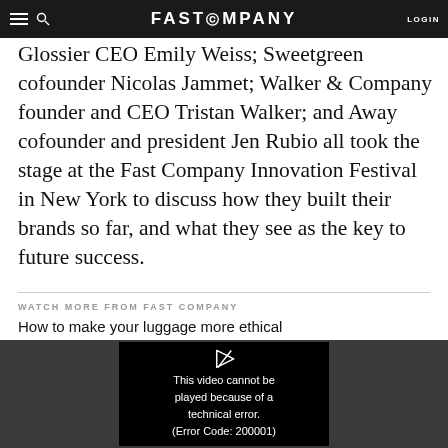FAST COMPANY | LOGIN
Glossier CEO Emily Weiss; Sweetgreen cofounder Nicolas Jammet; Walker & Company founder and CEO Tristan Walker; and Away cofounder and president Jen Rubio all took the stage at the Fast Company Innovation Festival in New York to discuss how they built their brands so far, and what they see as the key to future success.
WATCH MORE FROM FAST COMPANY
How to make your luggage more ethical
[Figure (screenshot): Video player showing error message: 'This video cannot be played because of a technical error. (Error Code: 200001)' on a dark background with a play icon.]